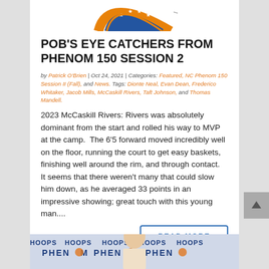[Figure (logo): Partial sports organization logo with orange and blue circular design with stars]
POB'S EYE CATCHERS FROM PHENOM 150 SESSION 2
by Patrick O'Brien | Oct 24, 2021 | Categories: Featured, NC Phenom 150 Session II (Fall), and News. Tags: Dionte Neal, Evan Dean, Frederico Whitaker, Jacob Mills, McCaskill Rivers, Taft Johnson, and Thomas Mandell.
2023 McCaskill Rivers: Rivers was absolutely dominant from the start and rolled his way to MVP at the camp.  The 6'5 forward moved incredibly well on the floor, running the court to get easy baskets, finishing well around the rim, and through contact.  It seems that there weren't many that could slow him down, as he averaged 33 points in an impressive showing; great touch with this young man....
READ MORE
[Figure (photo): Bottom strip showing a young male athlete in front of Phenom Hoops banner backdrop]